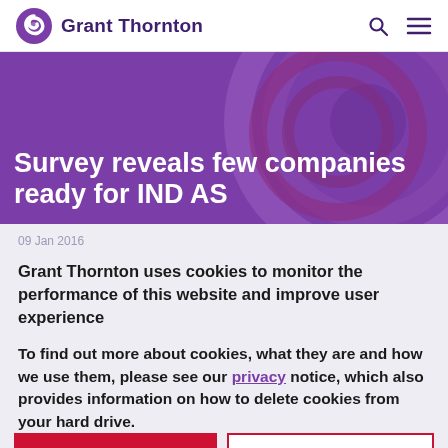Grant Thornton
Survey reveals few companies ready for IND AS
09 Jan 2016
Grant Thornton uses cookies to monitor the performance of this website and improve user experience
To find out more about cookies, what they are and how we use them, please see our privacy notice, which also provides information on how to delete cookies from your hard drive.
Accept
Decline